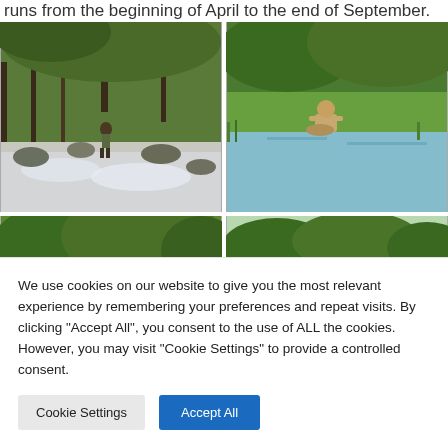runs from the beginning of April to the end of September.
[Figure (photo): A fast-flowing rocky stream in a lush green woodland with a person standing in the water]
[Figure (photo): A calm green river with a child sitting cross-legged on the grassy bank]
[Figure (photo): Green trees along a riverbank with a child in a blue hat visible at the bottom]
[Figure (photo): Open green field with trees in the background and a child in a cap visible at the bottom]
We use cookies on our website to give you the most relevant experience by remembering your preferences and repeat visits. By clicking "Accept All", you consent to the use of ALL the cookies. However, you may visit "Cookie Settings" to provide a controlled consent.